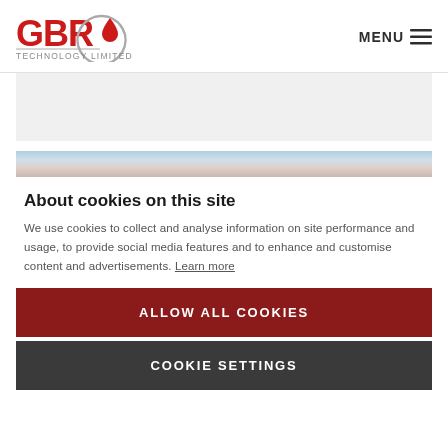[Figure (logo): GBR Technology Limited logo with red droplet icon and grey circular brushstroke, text 'GBR' in bold red and 'TECHNOLOGY LIMITED' below in grey]
MENU ☰
[Figure (photo): Light grey placeholder rectangle area]
[Figure (photo): Sky photo with clouds in blue and pink tones]
About cookies on this site
We use cookies to collect and analyse information on site performance and usage, to provide social media features and to enhance and customise content and advertisements. Learn more
ALLOW ALL COOKIES
COOKIE SETTINGS